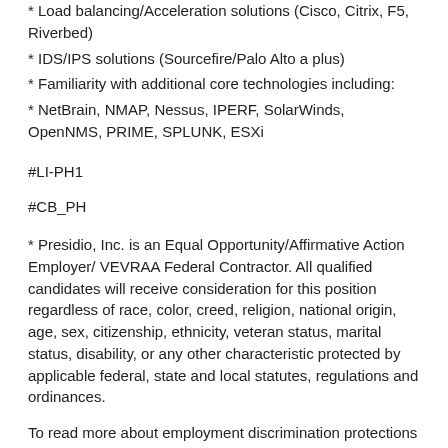* Load balancing/Acceleration solutions (Cisco, Citrix, F5, Riverbed)
* IDS/IPS solutions (Sourcefire/Palo Alto a plus)
* Familiarity with additional core technologies including:
* NetBrain, NMAP, Nessus, IPERF, SolarWinds, OpenNMS, PRIME, SPLUNK, ESXi
#LI-PH1
#CB_PH
* Presidio, Inc. is an Equal Opportunity/Affirmative Action Employer/ VEVRAA Federal Contractor. All qualified candidates will receive consideration for this position regardless of race, color, creed, religion, national origin, age, sex, citizenship, ethnicity, veteran status, marital status, disability, or any other characteristic protected by applicable federal, state and local statutes, regulations and ordinances.
To read more about employment discrimination protections under federal law, please visit: https://www1.eeoc.gov/employers/upload/eeoc_self_print_poster